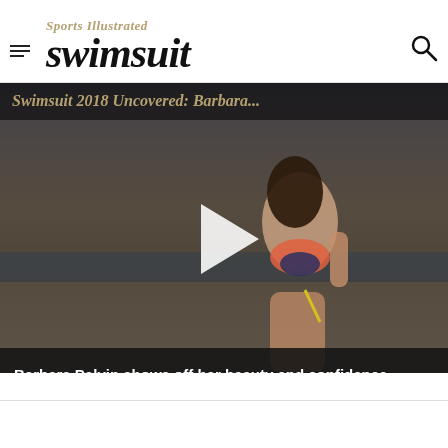Sports Illustrated Swimsuit
[Figure (photo): Video thumbnail showing model Barbara Palvin in a bikini on a beach with a play button overlay. Title bar reads 'Swimsuit 2018 Uncovered: Barbara...']
Barbara Palvin shows off her beauty and confidence
[Figure (infographic): Social media share icons: Facebook (f), Twitter (bird), Pinterest (P), Reddit (alien)]
It's the moment you've all been waiting for... We're excited to see Barbara Palvin to...